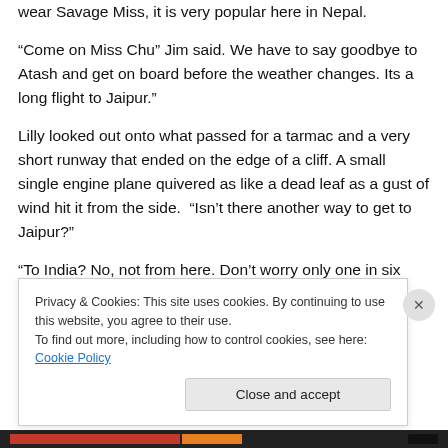wear Savage Miss, it is very popular here in Nepal.
“Come on Miss Chu” Jim said. We have to say goodbye to Atash and get on board before the weather changes. Its a long flight to Jaipur.”
Lilly looked out onto what passed for a tarmac and a very short runway that ended on the edge of a cliff. A small single engine plane quivered as like a dead leaf as a gust of wind hit it from the side.  “Isn’t there another way to get to Jaipur?”
“To India? No, not from here. Don’t worry only one in six…
Privacy & Cookies: This site uses cookies. By continuing to use this website, you agree to their use.
To find out more, including how to control cookies, see here: Cookie Policy
Close and accept